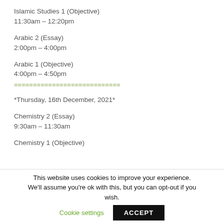Islamic Studies 1 (Objective)
11:30am – 12:20pm
Arabic 2 (Essay)
2:00pm – 4:00pm
Arabic 1 (Objective)
4:00pm – 4:50pm
============================
*Thursday, 16th December, 2021*
Chemistry 2 (Essay)
9:30am – 11:30am
Chemistry 1 (Objective)
This website uses cookies to improve your experience. We'll assume you're ok with this, but you can opt-out if you wish.  Cookie settings  ACCEPT